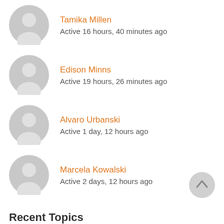Tamika Millen – Active 16 hours, 40 minutes ago
Edison Minns – Active 19 hours, 26 minutes ago
Alvaro Urbanski – Active 1 day, 12 hours ago
Marcela Kowalski – Active 2 days, 12 hours ago
Recent Topics